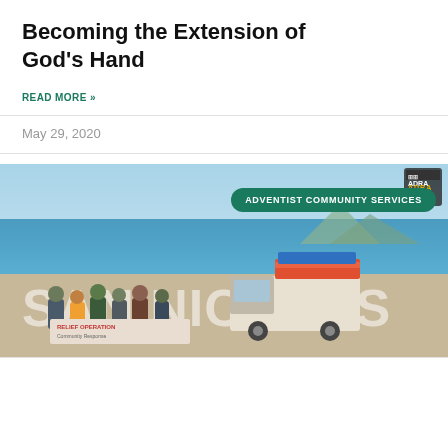Becoming the Extension of God's Hand
READ MORE »
May 29, 2020
[Figure (photo): Group of people standing in front of a truck with a banner reading 'Relief Operation' in San Nicolas, with a large SAN NICOLAS sign and the sea visible in the background. An ADRA logo and 'Adventist Community Services' badge overlay the image.]